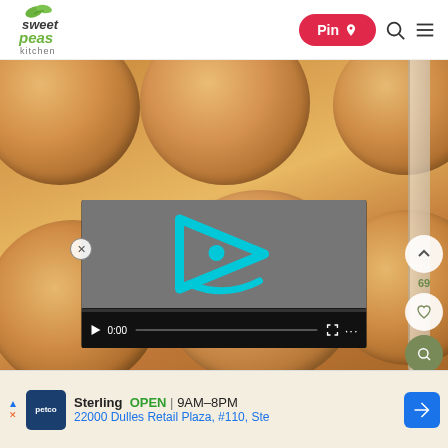Sweet Pea's Kitchen — Pin | Search | Menu
[Figure (photo): Close-up photo of golden-brown round cookies on a baking sheet, with a video player overlay showing a cyan play button logo and 0:00 timestamp]
Sterling OPEN | 9AM–8PM
22000 Dulles Retail Plaza, #110, Ste